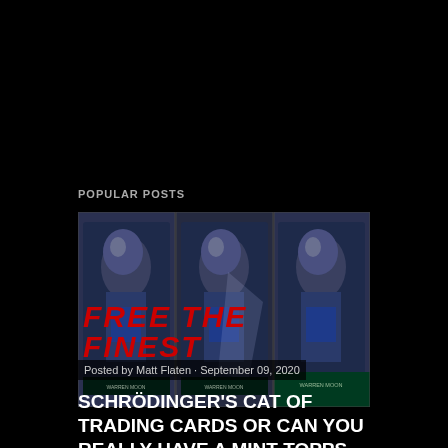POPULAR POSTS
[Figure (photo): Three Topps Finest football trading cards showing Warren Moon in a Seattle Seahawks uniform, with red bold text overlay reading 'FREE THE FINEST']
Posted by Matt Flaten · September 09, 2020
SCHRÖDINGER'S CAT OF TRADING CARDS OR CAN YOU REALLY HAVE A MINT TOPPS FINEST CARD FROM THE 80'S?